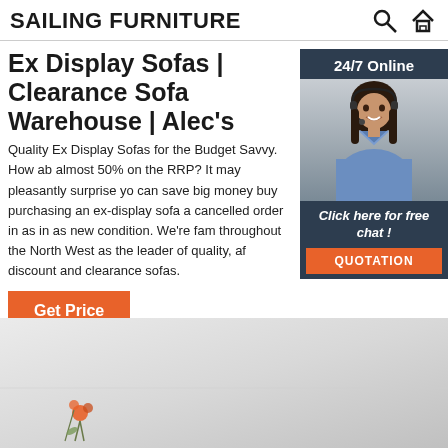SAILING FURNITURE
Ex Display Sofas | Clearance Sofa Warehouse | Alec's
Quality Ex Display Sofas for the Budget Savvy. How ab almost 50% on the RRP? It may pleasantly surprise yo can save big money buy purchasing an ex-display sofa a cancelled order in as in as new condition. We're fam throughout the North West as the leader of quality, af discount and clearance sofas.
[Figure (photo): Customer service representative woman wearing headset smiling, with 24/7 Online label and Click here for free chat! / QUOTATION button widget]
Get Price
[Figure (photo): Bottom image showing a light gray room background with a small decorative floral/orange element in lower left]